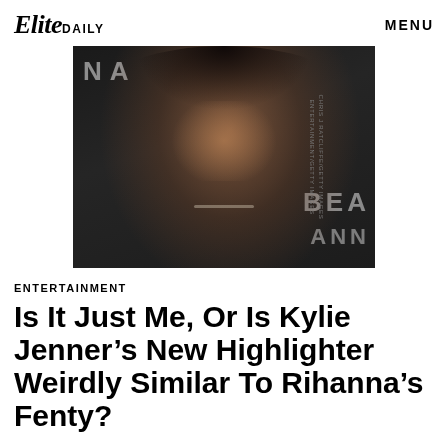Elite DAILY   MENU
[Figure (photo): Photo of Rihanna at a Fenty Beauty event, wearing a diamond necklace, with dark curly hair, against a dark background with partial text 'NA' and 'BEA ANN' visible]
CHRIS J RATCLIFFE/GETTY IMAGES ENTERTAINMENT/GETTY IMAGES
ENTERTAINMENT
Is It Just Me, Or Is Kylie Jenner’s New Highlighter Weirdly Similar To Rihanna’s Fenty?